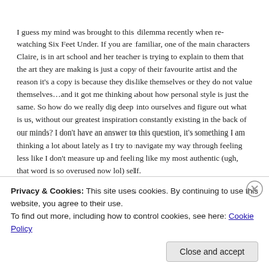I guess my mind was brought to this dilemma recently when re-watching Six Feet Under. If you are familiar, one of the main characters Claire, is in art school and her teacher is trying to explain to them that the art they are making is just a copy of their favourite artist and the reason it's a copy is because they dislike themselves or they do not value themselves…and it got me thinking about how personal style is just the same. So how do we really dig deep into ourselves and figure out what is us, without our greatest inspiration constantly existing in the back of our minds? I don't have an answer to this question, it's something I am thinking a lot about lately as I try to navigate my way through feeling less like I don't measure up and feeling like my most authentic (ugh, that word is so overused now lol) self.
Privacy & Cookies: This site uses cookies. By continuing to use this website, you agree to their use.
To find out more, including how to control cookies, see here: Cookie Policy
Close and accept